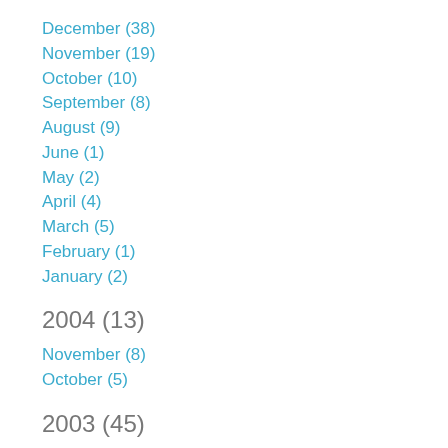December (38)
November (19)
October (10)
September (8)
August (9)
June (1)
May (2)
April (4)
March (5)
February (1)
January (2)
2004 (13)
November (8)
October (5)
2003 (45)
December (5)
November (11)
October (16)